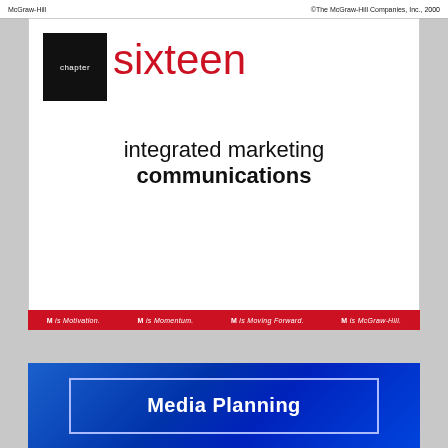McGraw-Hill | ©The McGraw-Hill Companies, Inc., 2000
chapter sixteen
integrated marketing communications
McGraw-Hill/Irwin | Copyright © 2013 by The McGraw-Hill Companies, Inc. All rights reserved.
M is Motivation. M is Momentum. M is Moving Forward. M is McGraw-Hill.
Media Planning